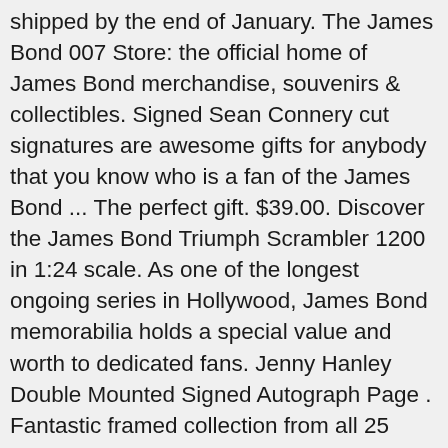shipped by the end of January. The James Bond 007 Store: the official home of James Bond merchandise, souvenirs & collectibles. Signed Sean Connery cut signatures are awesome gifts for anybody that you know who is a fan of the James Bond ... The perfect gift. $39.00. Discover the James Bond Triumph Scrambler 1200 in 1:24 scale. As one of the longest ongoing series in Hollywood, James Bond memorabilia holds a special value and worth to dedicated fans. Jenny Hanley Double Mounted Signed Autograph Page . Fantastic framed collection from all 25 James Bond movies containing authentic signature cards by Daniel Craig, Pierce Brosnan, George Lazenby, Timothy Dalton, Roger Moore and an oversized photo signed by Sean Connery. Inspired by. Showing 1–12 of 15 results ... and is the best possible proof any collector could have when looking to buy authentic signed memorabilia... 8x10 color original photograph authentic signed by famous james bond 007 star: stephanie sigman as estrelle in spectre